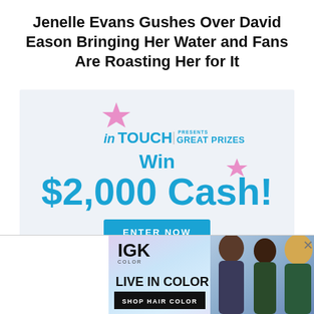Jenelle Evans Gushes Over David Eason Bringing Her Water and Fans Are Roasting Her for It
[Figure (infographic): In Touch Weekly 'GREAT PRIZES' advertisement. Win $2,000 Cash! with ENTER NOW button on light blue/grey background with pink star decorations.]
[Figure (infographic): IGK Color 'LIVE IN COLOR' advertisement with 'SHOP HAIR COLOR' button on left side and three women with colorful hair on right, close X button in corner.]